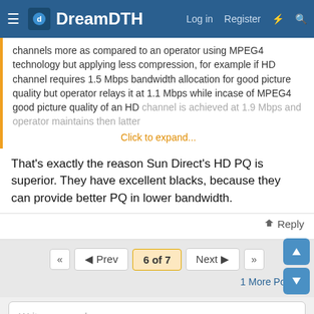DreamDTH — Log in  Register
channels more as compared to an operator using MPEG4 technology but applying less compression, for example if HD channel requires 1.5 Mbps bandwidth allocation for good picture quality but operator relays it at 1.1 Mbps while incase of MPEG4 good picture quality of an HD channel is achieved at 1.9 Mbps and operator maintains then latter Click to expand...
That's exactly the reason Sun Direct's HD PQ is superior. They have excellent blacks, because they can provide better PQ in lower bandwidth.
Reply
6 of 7
1 More Post...
Write your reply...